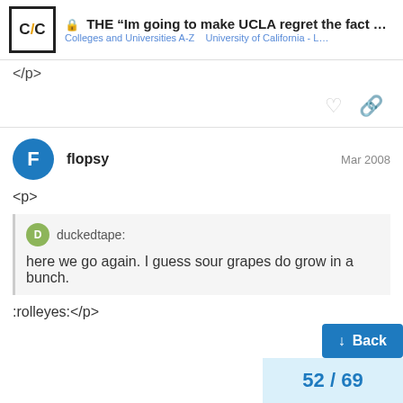THE “Im going to make UCLA regret the fact it ...
Colleges and Universities A-Z   University of California - L…
</p>
flopsy   Mar 2008
<p>
duckedtape:
here we go again. I guess sour grapes do grow in a bunch.
:rolleyes:</p>